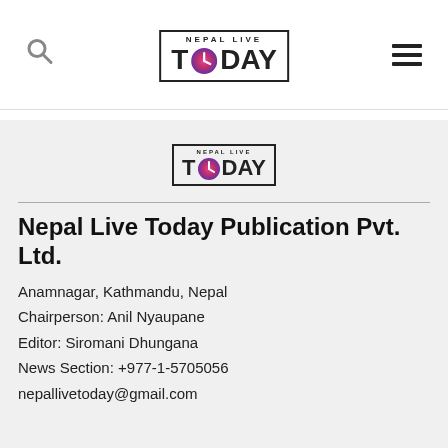Nepal Live Today — header with search icon, logo, and menu icon
[Figure (logo): Nepal Live Today logo — bordered box with 'NEPAL LIVE' small text and 'TODAY' large text with clock-style 'O']
Nepal Live Today Publication Pvt. Ltd.
Anamnagar, Kathmandu, Nepal
Chairperson: Anil Nyaupane
Editor: Siromani Dhungana
News Section: +977-1-5705056
nepallivetoday@gmail.com